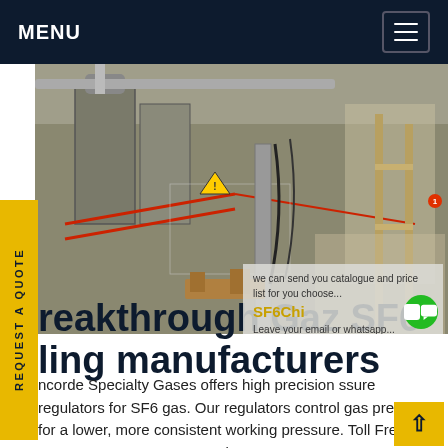MENU
[Figure (photo): Industrial facility interior with large metal tanks, red safety fencing/barriers, warning signs, pipes, scaffolding and equipment in a large warehouse-type space]
we can send you catalogue and price list for you choose... Leave your email or whatsapp... SF6Chi
Breakthrough Gaz SF6 handling manufacturers
Concorde Specialty Gases offers high precision pressure regulators for SF6 gas. Our regulators control gas pressure for a lower, more consistent working pressure. Toll Free: 1-800-818-5109 customerservice